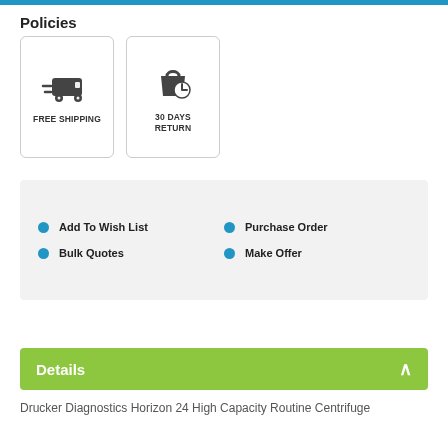Policies
[Figure (illustration): Two policy icons: a delivery van for Free Shipping and a shopping bag with return arrow for 30 Days Return]
Add To Wish List
Purchase Order
Bulk Quotes
Make Offer
Details
Drucker Diagnostics Horizon 24 High Capacity Routine Centrifuge